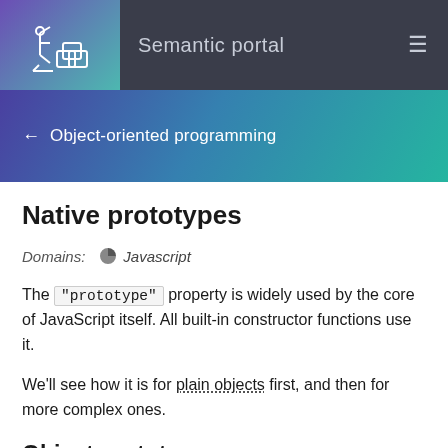Semantic portal
Object-oriented programming
Native prototypes
Domains: Javascript
The "prototype" property is widely used by the core of JavaScript itself. All built-in constructor functions use it.
We'll see how it is for plain objects first, and then for more complex ones.
Object.prototype